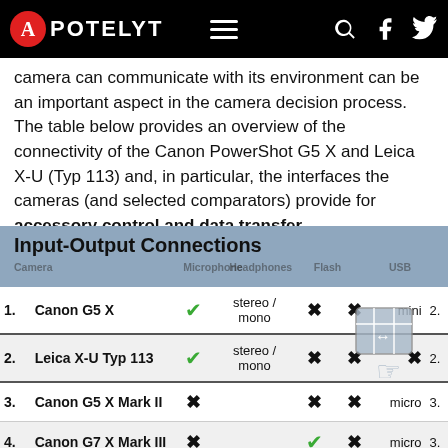APOTELYT
camera can communicate with its environment can be an important aspect in the camera decision process. The table below provides an overview of the connectivity of the Canon PowerShot G5 X and Leica X-U (Typ 113) and, in particular, the interfaces the cameras (and selected comparators) provide for accessory control and data transfer.
|  | Camera | Microphone | Headphones | Flash | USB |  |
| --- | --- | --- | --- | --- | --- | --- |
| 1. | Canon G5 X | ✓ | stereo / mono | ✗ | ✗ | mini | 2. |
| 2. | Leica X-U Typ 113 | ✓ | stereo / mono | ✗ | ✗ | ✗ | 2. |
| 3. | Canon G5 X Mark II | ✗ |  | ✗ | ✗ | micro | 3. |
| 4. | Canon G7 X Mark III | ✗ |  | ✓ | ✗ | micro | 3. |
| 5. | Canon G1 X Mark III | ✓ |  | ✗ | ✗ | micro | 2. |
| 6. | Canon G7 X Mark II | ✗ | stereo / mono | ✗ | ✗ | micro | 2. |